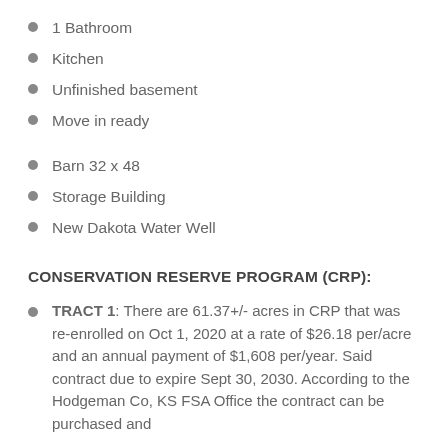1 Bathroom
Kitchen
Unfinished basement
Move in ready
Barn 32 x 48
Storage Building
New Dakota Water Well
CONSERVATION RESERVE PROGRAM (CRP):
TRACT 1: There are 61.37+/- acres in CRP that was re-enrolled on Oct 1, 2020 at a rate of $26.18 per/acre and an annual payment of $1,608 per/year. Said contract due to expire Sept 30, 2030. According to the Hodgeman Co, KS FSA Office the contract can be purchased and